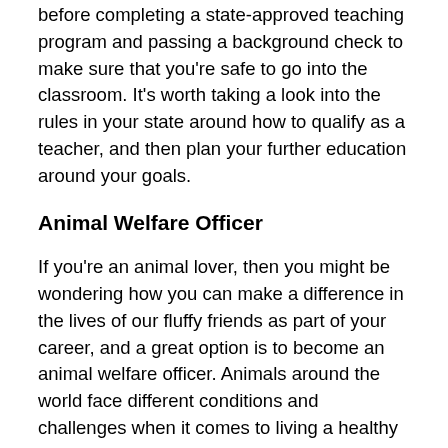before completing a state-approved teaching program and passing a background check to make sure that you're safe to go into the classroom. It's worth taking a look into the rules in your state around how to qualify as a teacher, and then plan your further education around your goals.
Animal Welfare Officer
If you're an animal lover, then you might be wondering how you can make a difference in the lives of our fluffy friends as part of your career, and a great option is to become an animal welfare officer. Animals around the world face different conditions and challenges when it comes to living a healthy and peaceful life, and this reality is mirrored around the US.
The day-to-day responsibilities of AWOs can be very